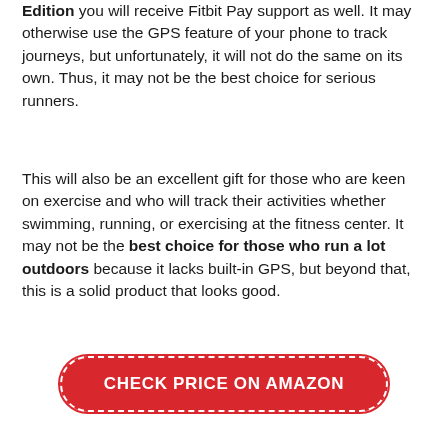Edition you will receive Fitbit Pay support as well. It may otherwise use the GPS feature of your phone to track journeys, but unfortunately, it will not do the same on its own. Thus, it may not be the best choice for serious runners.
This will also be an excellent gift for those who are keen on exercise and who will track their activities whether swimming, running, or exercising at the fitness center. It may not be the best choice for those who run a lot outdoors because it lacks built-in GPS, but beyond that, this is a solid product that looks good.
CHECK PRICE ON AMAZON